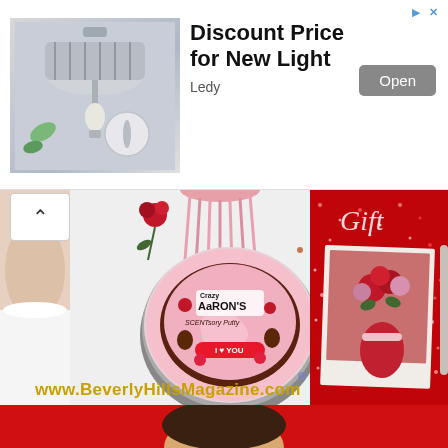[Figure (screenshot): Advertisement banner for Ledy: shows a ceiling light fixture product photo on the left, bold text 'Discount Price for New Light' in center, 'Open' button on right, 'Ledy' brand below title. Small arrow and X icons in top right corner.]
[Figure (photo): Beverly Hills Magazine promotional collage: white background with pink tassel, roses, woman in white underwear on left edge, circular tin of Aaron's Crazy SCENTsory Putty 'I Love You' product in center, red glitter gift background on right with a photo of red flower bouquet. Yellow text at bottom reads 'www.BeverlyHillsMagazine.com']
[Figure (photo): Partial view of another red-background advertisement at the very bottom of the page, showing a person's face/upper body.]